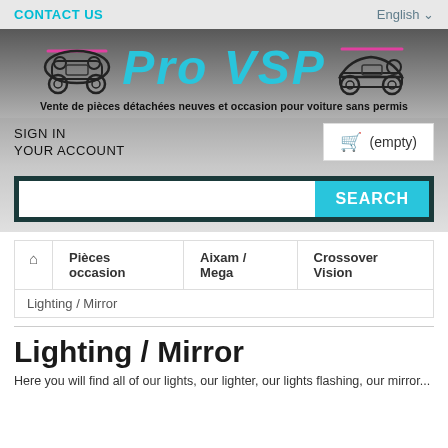CONTACT US | English
[Figure (logo): Pro VSP logo with two car silhouettes and tagline: Vente de pièces détachées neuves et occasion pour voiture sans permis]
SIGN IN
YOUR ACCOUNT
(empty)
SEARCH
🏠 | Pièces occasion | Aixam / Mega | Crossover Vision
Lighting / Mirror
Lighting / Mirror
Here you will find all of our lights, our lighter, our lights flashing, our mirror...